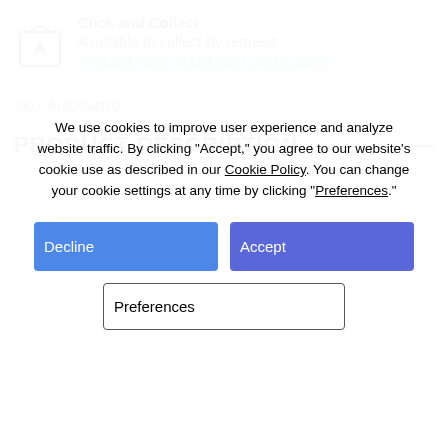[Figure (illustration): Shopping bag icon with letter A on it]
Click and Collect
Available to collect by request.
Find out more about Click and Collect
SKU: 8160504100
PRODUCT DESCRIPTION
We use cookies to improve user experience and analyze website traffic. By clicking “Accept,” you agree to our website’s cookie use as described in our Cookie Policy. You can change your cookie settings at any time by clicking “Preferences.”
Decline
Accept
Preferences